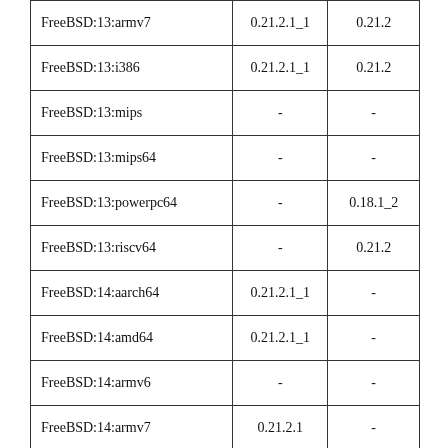| FreeBSD:13:armv7 | 0.21.2.1_1 | 0.21.2 |
| FreeBSD:13:i386 | 0.21.2.1_1 | 0.21.2 |
| FreeBSD:13:mips | - | - |
| FreeBSD:13:mips64 | - | - |
| FreeBSD:13:powerpc64 | - | 0.18.1_2 |
| FreeBSD:13:riscv64 | - | 0.21.2 |
| FreeBSD:14:aarch64 | 0.21.2.1_1 | - |
| FreeBSD:14:amd64 | 0.21.2.1_1 | - |
| FreeBSD:14:armv6 | - | - |
| FreeBSD:14:armv7 | 0.21.2.1 | - |
| FreeBSD:14:i386 | 0.21.2.1_1 | - |
| FreeBSD:14:mips | - | - |
| FreeBSD:14:mips64 | - | - |
| FreeBSD:14:powerpc64 | 0.18.1_2 | - |